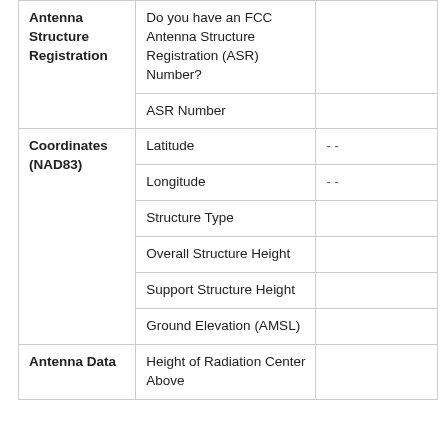|  | Field | Value |
| --- | --- | --- |
| Antenna Structure Registration | Do you have an FCC Antenna Structure Registration (ASR) Number? |  |
|  | ASR Number |  |
| Coordinates (NAD83) | Latitude | - - |
|  | Longitude | - - |
|  | Structure Type |  |
|  | Overall Structure Height |  |
|  | Support Structure Height |  |
|  | Ground Elevation (AMSL) |  |
| Antenna Data | Height of Radiation Center Above |  |